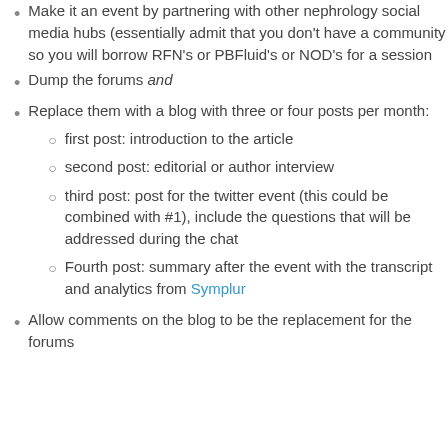Make it an event by partnering with other nephrology social media hubs (essentially admit that you don't have a community so you will borrow RFN's or PBFluid's or NOD's for a session
Dump the forums and
Replace them with a blog with three or four posts per month:
first post: introduction to the article
second post: editorial or author interview
third post: post for the twitter event (this could be combined with #1), include the questions that will be addressed during the chat
Fourth post: summary after the event with the transcript and analytics from Symplur
Allow comments on the blog to be the replacement for the forums